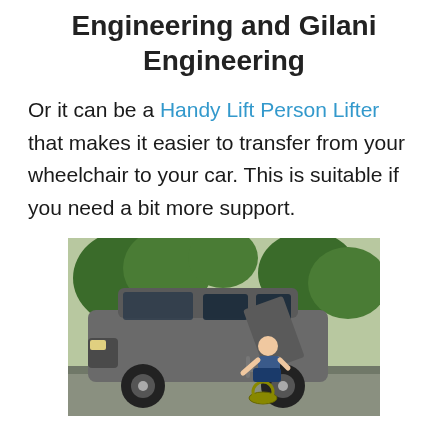Engineering and Gilani Engineering
Or it can be a Handy Lift Person Lifter that makes it easier to transfer from your wheelchair to your car. This is suitable if you need a bit more support.
[Figure (photo): A man in a wheelchair next to an open car door of a grey minivan, with trees in the background. He appears to be transferring from the wheelchair to the car seat.]